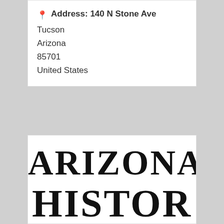Address: 140 N Stone Ave
Tucson
Arizona
85701
United States
Experience Arizona History like never before. In the coming weeks, journey into Arizona's rich and vibrant past with online resources, virtual tours, and additional Read more...
[Figure (logo): Arizona History logo text showing 'ARIZONA' on first line and 'HISTOR' (partially cropped) on second line in large serif bold font]